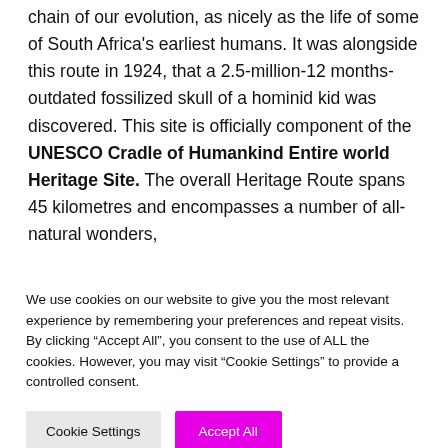chain of our evolution, as nicely as the life of some of South Africa's earliest humans. It was alongside this route in 1924, that a 2.5-million-12 months-outdated fossilized skull of a hominid kid was discovered. This site is officially component of the UNESCO Cradle of Humankind Entire world Heritage Site. The overall Heritage Route spans 45 kilometres and encompasses a number of all-natural wonders,
We use cookies on our website to give you the most relevant experience by remembering your preferences and repeat visits. By clicking “Accept All”, you consent to the use of ALL the cookies. However, you may visit "Cookie Settings" to provide a controlled consent.